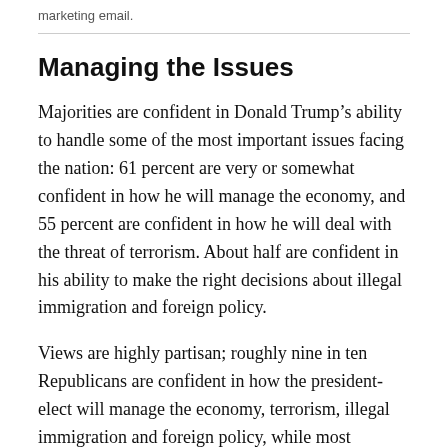marketing email.
Managing the Issues
Majorities are confident in Donald Trump's ability to handle some of the most important issues facing the nation: 61 percent are very or somewhat confident in how he will manage the economy, and 55 percent are confident in how he will deal with the threat of terrorism. About half are confident in his ability to make the right decisions about illegal immigration and foreign policy.
Views are highly partisan; roughly nine in ten Republicans are confident in how the president-elect will manage the economy, terrorism, illegal immigration and foreign policy, while most